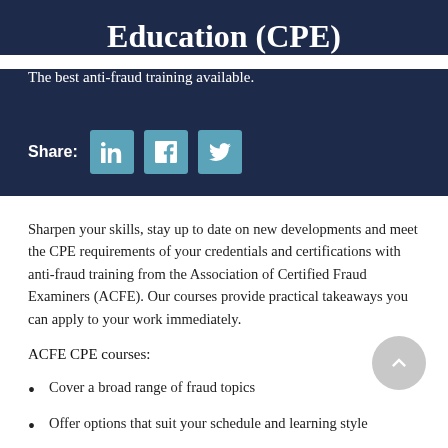Education (CPE)
The best anti-fraud training available.
[Figure (other): Share buttons row with LinkedIn, Facebook, and Twitter icons on dark blue background]
Sharpen your skills, stay up to date on new developments and meet the CPE requirements of your credentials and certifications with anti-fraud training from the Association of Certified Fraud Examiners (ACFE). Our courses provide practical takeaways you can apply to your work immediately.
ACFE CPE courses:
Cover a broad range of fraud topics
Offer options that suit your schedule and learning style